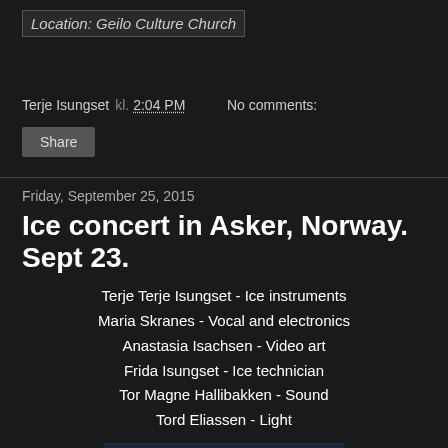Location: Geilo Culture Church
Terje Isungset kl. 2:04 PM   No comments:
Share
Friday, September 25, 2015
Ice concert in Asker, Norway. Sept 23.
Terje Terje Isungset - Ice instruments
Maria Skranes - Vocal and electronics
Anastasia Isachsen - Video art
Frida Isungset - Ice technician
Tor Magne Hallibakken - Sound
Tord Eliassen - Light
[Figure (photo): Dark blue-toned photo from an ice concert performance]